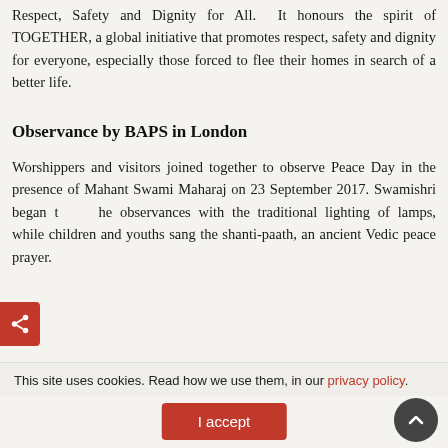Respect, Safety and Dignity for All. It honours the spirit of TOGETHER, a global initiative that promotes respect, safety and dignity for everyone, especially those forced to flee their homes in search of a better life.
Observance by BAPS in London
Worshippers and visitors joined together to observe Peace Day in the presence of Mahant Swami Maharaj on 23 September 2017. Swamishri began the observances with the traditional lighting of lamps, while children and youths sang the shanti-paath, an ancient Vedic peace prayer.
This site uses cookies. Read how we use them, in our privacy policy.